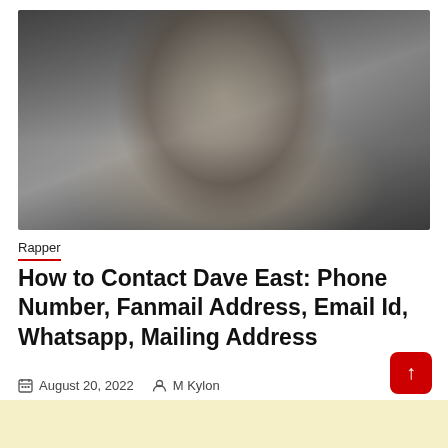[Figure (photo): Black and white portrait photo of Dave East, a rapper, wearing a floral shirt and showing tattoos on his neck and chest, with braided hair and a beard.]
Rapper
How to Contact Dave East: Phone Number, Fanmail Address, Email Id, Whatsapp, Mailing Address
August 20, 2022  M Kylon